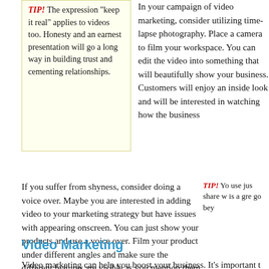TIP! The expression "keep it real" applies to videos too. Honesty and an earnest presentation will go a long way in building trust and cementing relationships.
In your campaign of video marketing, consider utilizing time-lapse photography. Place a camera to film your workspace. You can edit the video into something that will beautifully show your business. Customers will enjoy an inside look and will be interested in watching how the business comes together.
If you suffer from shyness, consider doing a voice over. Maybe you are interested in adding video to your marketing strategy but have issues with appearing onscreen. You can just show your products and use a voice over. Film your product under different angles and make sure the different features are visible as you mention them in the video.
TIP! You can use just photos to share what you know is a great time to go beyond that...
Video Marketing
Video marketing can help you boost your business. It's important to use what you've read here to your advantage. Begin developing your video marketing campaign. today.
[Figure (photo): Blue rectangular image placeholder at the bottom of the page]